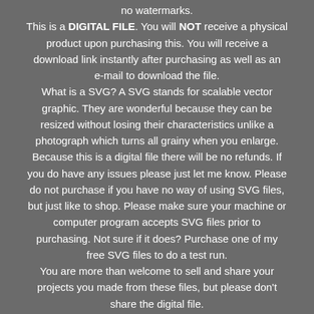no watermarks. This is a DIGITAL FILE. You will NOT receive a physical product upon purchasing this. You will receive a download link instantly after purchasing as well as an e-mail to download the file. What is a SVG? A SVG stands for scalable vector graphic. They are wonderful because they can be resized without losing their characteristics unlike a photograph which turns all grainy when you enlarge. Because this is a digital file there will be no refunds. If you do have any issues please just let me know. Please do not purchase if you have no way of using SVG files, but just like to shop. Please make sure your machine or computer program accepts SVG files prior to purchasing. Not sure if it does? Purchase one of my free SVG files to do a test run. You are more than welcome to sell and share your projects you made from these files, but please don't share the digital file.